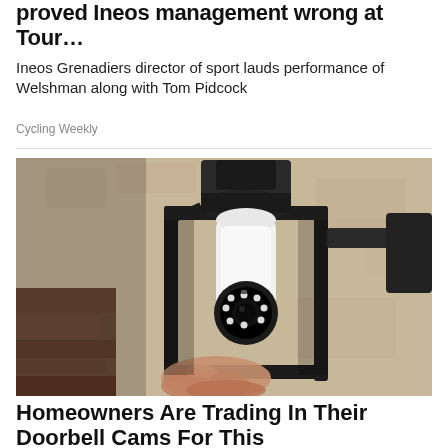proved Ineos management wrong at Tour…
Ineos Grenadiers director of sport lauds performance of Welshman along with Tom Pidcock
Cycling Weekly
[Figure (photo): A smart security camera shaped like a lightbulb installed inside a black outdoor lantern fixture mounted on a textured stone/stucco wall. A hand is visible at the bottom holding or installing the device.]
Homeowners Are Trading In Their Doorbell Cams For This